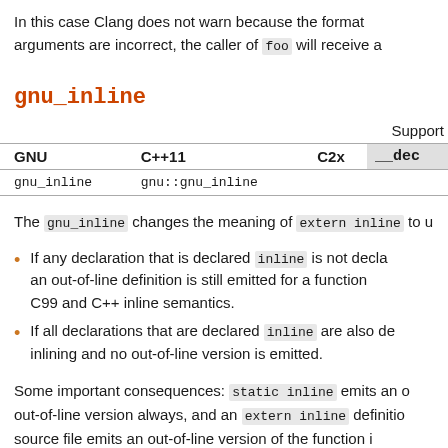In this case Clang does not warn because the format arguments are incorrect, the caller of foo will receive a
gnu_inline
Support
| GNU | C++11 | C2x | __dec... |
| --- | --- | --- | --- |
| gnu_inline | gnu::gnu_inline |  |  |
The gnu_inline changes the meaning of extern inline to u
If any declaration that is declared inline is not decla... an out-of-line definition is still emitted for a function C99 and C++ inline semantics.
If all declarations that are declared inline are also de... inlining and no out-of-line version is emitted.
Some important consequences: static inline emits an out-of-line version always, and an extern inline definition source file emits an out-of-line version of the function in all includers of the header.